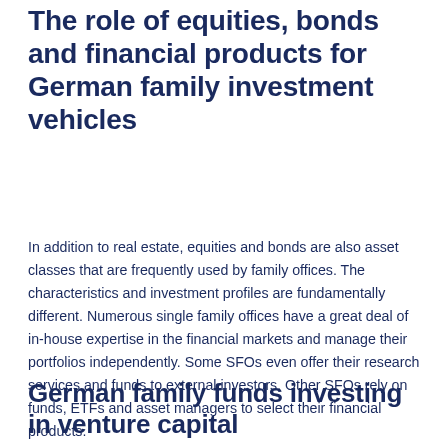The role of equities, bonds and financial products for German family investment vehicles
In addition to real estate, equities and bonds are also asset classes that are frequently used by family offices. The characteristics and investment profiles are fundamentally different. Numerous single family offices have a great deal of in-house expertise in the financial markets and manage their portfolios independently. Some SFOs even offer their research services and funds to external investors. Other SFOs rely on funds, ETFs and asset managers to select their financial products.
German family funds investing in venture capital